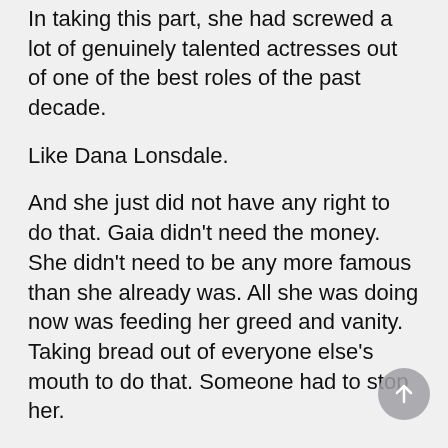In taking this part, she had screwed a lot of genuinely talented actresses out of one of the best roles of the past decade.
Like Dana Lonsdale.
And she just did not have any right to do that. Gaia didn't need the money. She didn't need to be any more famous than she already was. All she was doing now was feeding her greed and vanity. Taking bread out of everyone else's mouth to do that. Someone had to stop her.
He patted the pistol jammed in his pocket, uneasily. He'd never fired a gun in his life. The goddamn things made him nervous. But sometimes you had to do what you believed was right.